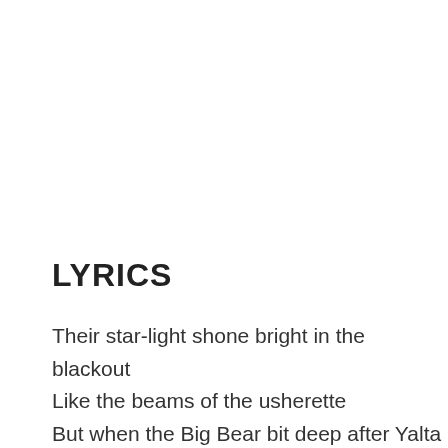LYRICS
Their star-light shone bright in the blackout
Like the beams of the usherette
But when the Big Bear bit deep after Yalta
There were those that came to forget.
They went out West for the screening
And they carried a sharp-tooth comb